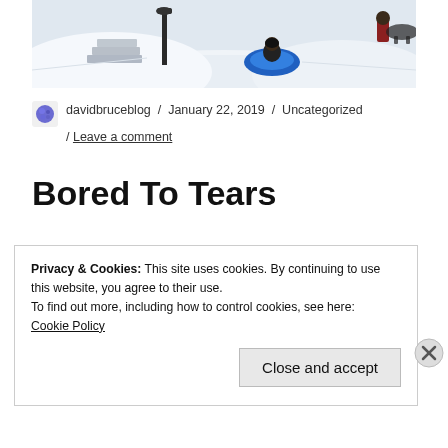[Figure (photo): Snow sledding scene: a child on a blue sled/tube going down a snowy hill, lamppost and steps visible in the background, another person at top right.]
davidbruceblog / January 22, 2019 / Uncategorized / Leave a comment
Bored To Tears
Privacy & Cookies: This site uses cookies. By continuing to use this website, you agree to their use.
To find out more, including how to control cookies, see here:
Cookie Policy
Close and accept